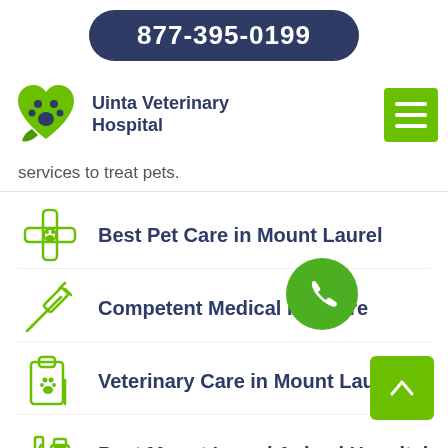877-395-0199
[Figure (logo): Uinta Veterinary Hospital logo with paw print inside a green heart shape]
Uinta Veterinary Hospital
services to treat pets.
Best Pet Care in Mount Laurel
Competent Medical Pet Care
Veterinary Care in Mount Laurel
Best Mount Laurel Animal Hospital